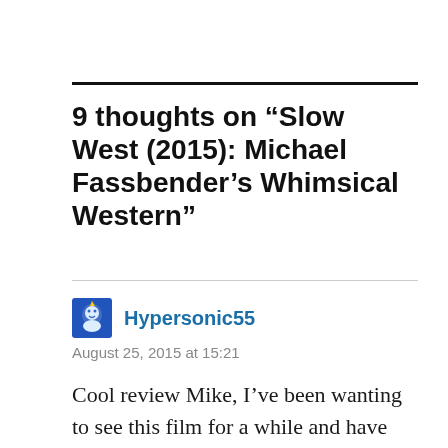9 thoughts on “Slow West (2015): Michael Fassbender’s Whimsical Western”
Hypersonic55
August 25, 2015 at 15:21
Cool review Mike, I’ve been wanting to see this film for a while and have heard nothing but good things. I need to see this before the year is out haha